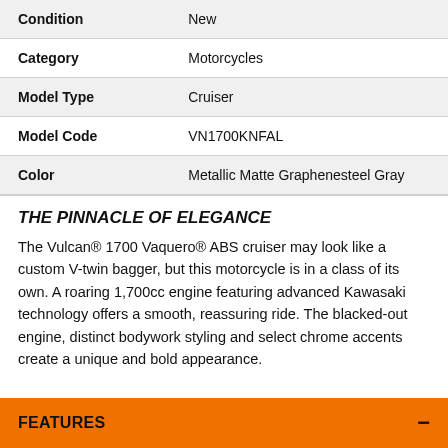| Condition | New |
| Category | Motorcycles |
| Model Type | Cruiser |
| Model Code | VN1700KNFAL |
| Color | Metallic Matte Graphenesteel Gray |
THE PINNACLE OF ELEGANCE
The Vulcan® 1700 Vaquero® ABS cruiser may look like a custom V-twin bagger, but this motorcycle is in a class of its own. A roaring 1,700cc engine featuring advanced Kawasaki technology offers a smooth, reassuring ride. The blacked-out engine, distinct bodywork styling and select chrome accents create a unique and bold appearance.
FEATURES